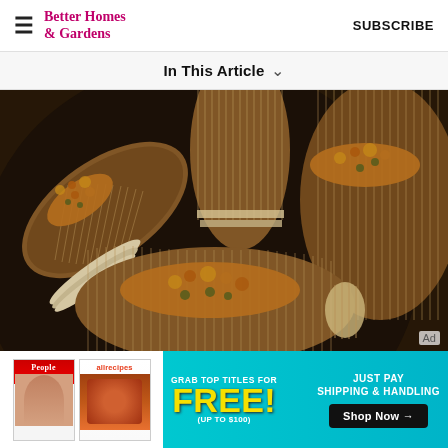Better Homes & Gardens  SUBSCRIBE
In This Article
[Figure (photo): Hasselback potatoes topped with breadcrumb and herb topping, arranged on a dark round pan, photographed from above]
[Figure (infographic): Advertisement banner: People and allrecipes magazine covers on left. Text: GRAB TOP TITLES FOR FREE! (UP TO $100) JUST PAY SHIPPING & HANDLING. Shop Now button.]